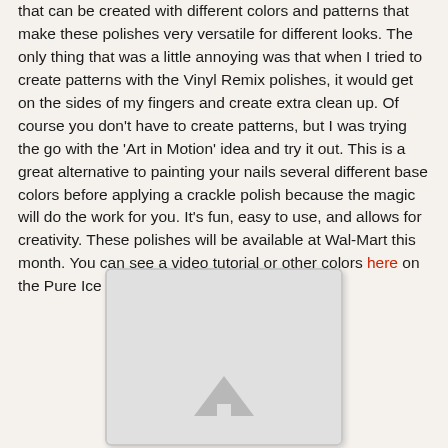that can be created with different colors and patterns that make these polishes very versatile for different looks. The only thing that was a little annoying was that when I tried to create patterns with the Vinyl Remix polishes, it would get on the sides of my fingers and create extra clean up. Of course you don't have to create patterns, but I was trying the go with the 'Art in Motion' idea and try it out. This is a great alternative to painting your nails several different base colors before applying a crackle polish because the magic will do the work for you. It's fun, easy to use, and allows for creativity. These polishes will be available at Wal-Mart this month. You can see a video tutorial or other colors here on the Pure Ice website.
[Figure (photo): A white/gray card or image placeholder with a rounded rectangle border and a gray triangle/arrow icon at the bottom center, shown against a light beige background.]